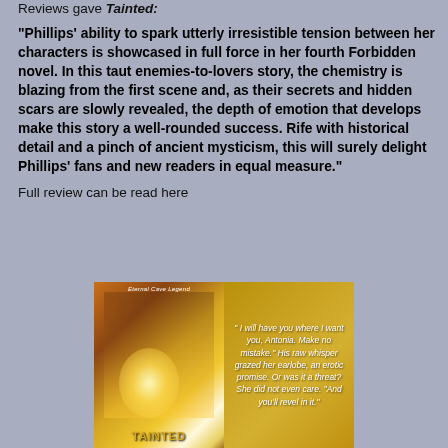Reviews gave Tainted:
"Phillips' ability to spark utterly irresistible tension between her characters is showcased in full force in her fourth Forbidden novel. In this taut enemies-to-lovers story, the chemistry is blazing from the first scene and, as their secrets and hidden scars are slowly revealed, the depth of emotion that develops make this story a well-rounded success. Rife with historical detail and a pinch of ancient mysticism, this will surely delight Phillips' fans and new readers in equal measure."
Full review can be read here
[Figure (illustration): Book cover and promotional image for 'Tainted' showing a romantic couple on the left cover panel with glowing light effects, and a gold/yellow fabric background on the right panel with italic white quote text reading: 'I will have you where I want you, Antonia. Make no mistake.' His raw whisper grazed her earlobe, an erotic promise. Or was it a threat? She did not even care. 'And you'll revel in it.' The bottom of the cover reads TAINTED in gold letters. Top label reads Eternal Cave Legend.]